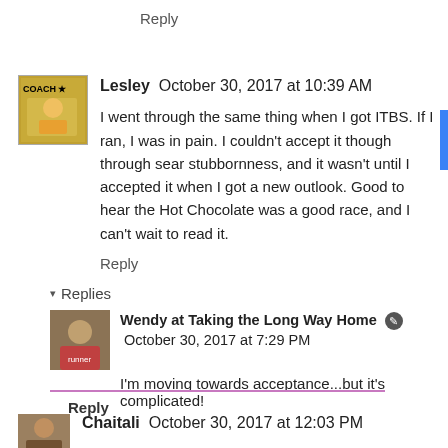Reply
Lesley  October 30, 2017 at 10:39 AM
I went through the same thing when I got ITBS. If I ran, I was in pain. I couldn't accept it though through sear stubbornness, and it wasn't until I accepted it when I got a new outlook. Good to hear the Hot Chocolate was a good race, and I can't wait to read it.
Reply
▾ Replies
Wendy at Taking the Long Way Home  October 30, 2017 at 7:29 PM
I'm moving towards acceptance...but it's complicated!
Reply
Chaitali  October 30, 2017 at 12:03 PM